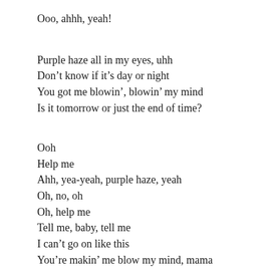Ooo, ahhh, yeah!
Purple haze all in my eyes, uhh
Don’t know if it’s day or night
You got me blowin’, blowin’ my mind
Is it tomorrow or just the end of time?
Ooh
Help me
Ahh, yea-yeah, purple haze, yeah
Oh, no, oh
Oh, help me
Tell me, baby, tell me
I can’t go on like this
You’re makin’ me blow my mind, mama
N-no, nooo